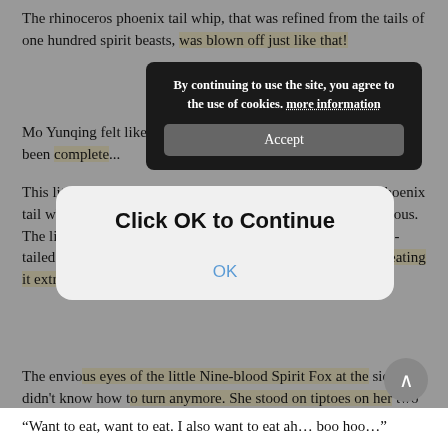The rhinoceros phoenix tail whip, that was refined from the tails of one hundred spirit beasts, was blown off just like that!
[Figure (screenshot): Dark cookie consent banner overlay saying 'By continuing to use the site, you agree to the use of cookies. more information' with an Accept button]
Mo Yunqing felt like the divine. Her outlook on the world had been completely changed.
This little dragon actually… actually bit off her rhinoceros phoenix tail whip! Moreover, it seemed as if the whip was really delicious. The little dragon directly snatched the whip from the nine-tailed Spirit Fox's power, like he was gnawing on sugarcane, eating it extremely joyously.
[Figure (screenshot): Light gray dialog box with 'Click OK to Continue' heading and blue OK button]
The envious eyes of the little Nine-blood Spirit Fox at the side didn't know how to turn anymore. She stood on tiptoes on her two little hind legs and grabbed the little divine dragon with her two front claws, saliva dripping out from her mouth.
“Want to eat, want to eat. I also want to eat ah… boo hoo…”